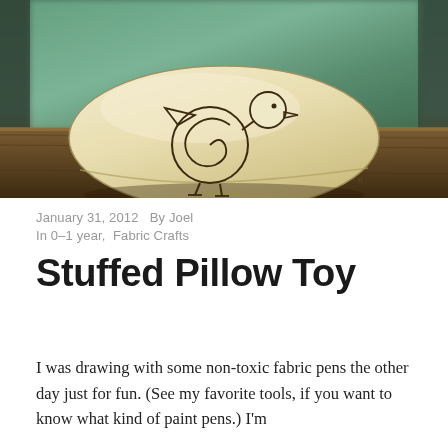[Figure (photo): A small stuffed fabric pillow toy with a hand-drawn bird design made with fabric pens, sitting on a wooden surface with a blurred green background. The bird is drawn with simple lines showing a round spiral body, small triangular wing, round head with a dot eye and beak, and stick legs.]
January 31, 2012   By Joel
In 0-1 year,  Fabric Crafts
Stuffed Pillow Toy
I was drawing with some non-toxic fabric pens the other day just for fun. (See my favorite tools, if you want to know what kind of paint pens.) I'm